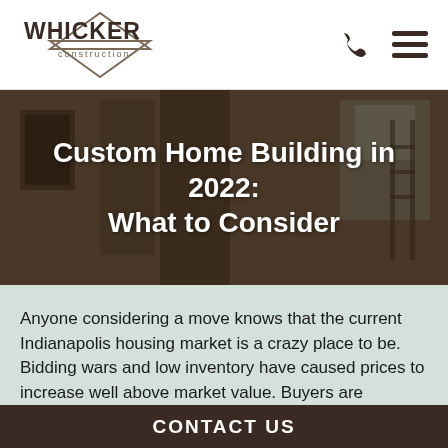WHICKER construction
Custom Home Building in 2022: What to Consider
Anyone considering a move knows that the current Indianapolis housing market is a crazy place to be. Bidding wars and low inventory have caused prices to increase well above market value. Buyers are spending thousands more than asking price for pre-existing
CONTACT US